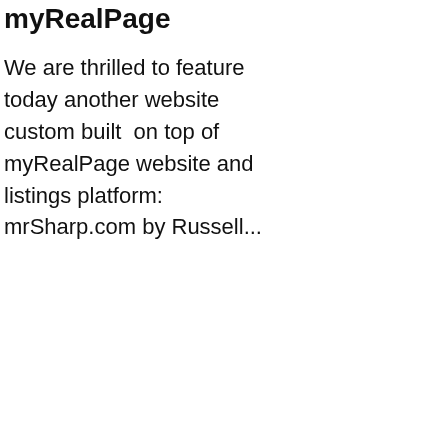myRealPage
We are thrilled to feature today another website custom built on top of myRealPage website and listings platform: mrSharp.com by Russell...